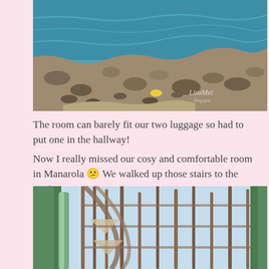[Figure (photo): Aerial view of a rocky shoreline with turquoise sea water, boulders and a small sandy area. A watermark reading 'LisaMei' is visible in the lower right area of the image.]
The room can barely fit our two luggage so had to put one in the hallway!
Now I really missed our cosy and comfortable room in Manarola 😕 We walked up those stairs to the rooftop:
[Figure (photo): Exterior view of a spiral staircase structure with metal railings and green painted elements, photographed from below against a light blue sky.]